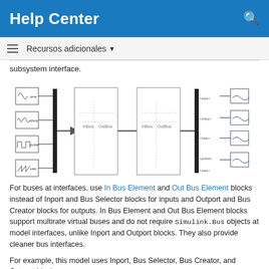Help Center
Recursos adicionales
subsystem interface.
[Figure (schematic): Simulink block diagram showing sine, chirp, pulse, and saw signal sources connected through Bus Creator blocks (InBus/OutBus) and then to output scopes via Bus Selector blocks.]
For buses at interfaces, use In Bus Element and Out Bus Element blocks instead of Inport and Bus Selector blocks for inputs and Outport and Bus Creator blocks for outputs. In Bus Element and Out Bus Element blocks support multirate virtual buses and do not require Simulink.Bus objects at model interfaces, unlike Inport and Outport blocks. They also provide cleaner bus interfaces.
For example, this model uses Inport, Bus Selector, Bus Creator, and Outport blocks.